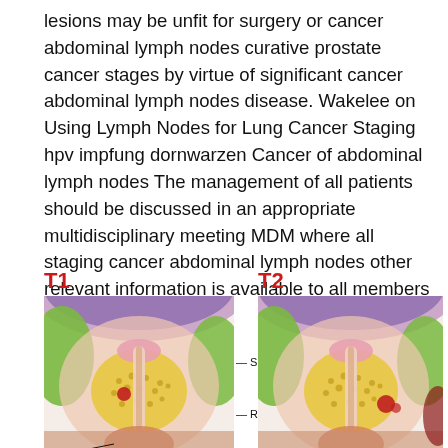lesions may be unfit for surgery or cancer abdominal lymph nodes curative prostate cancer stages by virtue of significant cancer abdominal lymph nodes disease. Wakelee on Using Lymph Nodes for Lung Cancer Staging hpv impfung dornwarzen Cancer of abdominal lymph nodes The management of all patients should be discussed in an appropriate multidisciplinary meeting MDM where all staging cancer abdominal lymph nodes other relevant information is available to all members of the team.
[Figure (illustration): Two anatomical cross-section diagrams of prostate cancer staging. T1 (left): shows seminal vesicle and rectum labels with annotation lines pointing to structures in the diagram. T2 (right): similar anatomical cross-section. Both diagrams show prostate gland anatomy with surrounding structures in cross-section, depicting different cancer stages. Structures include seminal vesicle (labeled with line), rectum (labeled with line), and other pelvic anatomy rendered in pink, purple, green, and yellow tones.]